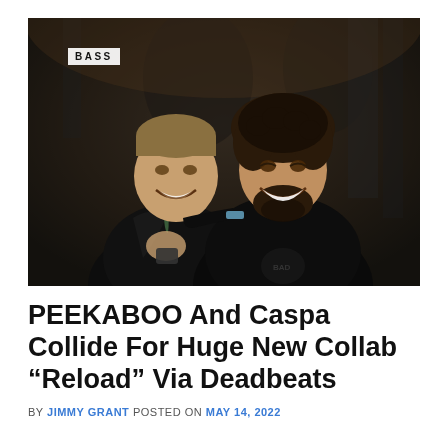[Figure (photo): Two men smiling and posing together in a dark venue setting. The man on the left has short hair and is wearing a black jacket, making a hand gesture. The man on the right has curly dark hair and a beard, wearing a dark hoodie with his arm around the other man. A white label reading 'BASS' appears in the top-left corner of the photo.]
PEEKABOO And Caspa Collide For Huge New Collab “Reload” Via Deadbeats
BY JIMMY GRANT POSTED ON MAY 14, 2022